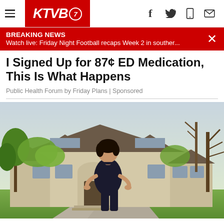KTVB7
BREAKING NEWS
Watch live: Friday Night Football recaps Week 2 in souther...
I Signed Up for 87¢ ED Medication, This Is What Happens
Public Health Forum by Friday Plans | Sponsored
[Figure (photo): Woman in dark sleeveless dress standing in front of a large suburban house with a driveway, trees, and manicured lawn]